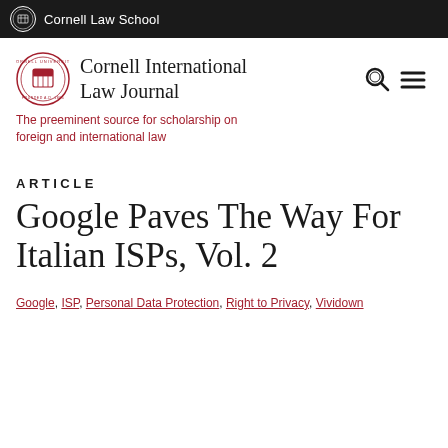Cornell Law School
[Figure (logo): Cornell International Law Journal logo with university seal]
The preeminent source for scholarship on foreign and international law
ARTICLE
Google Paves The Way For Italian ISPs, Vol. 2
Google, ISP, Personal Data Protection, Right to Privacy, Vividown